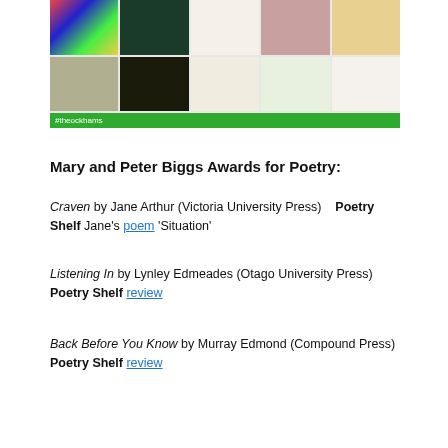[Figure (illustration): Grid of book covers for the Ockham NZ Book Awards poetry shortlist, with a green bar at the bottom showing #theockhams]
Mary and Peter Biggs Awards for Poetry:
Craven by Jane Arthur (Victoria University Press)    Poetry Shelf Jane’s poem ‘Situation’
Listening In by Lynley Edmeades (Otago University Press) Poetry Shelf review
Back Before You Know by Murray Edmond (Compound Press) Poetry Shelf review